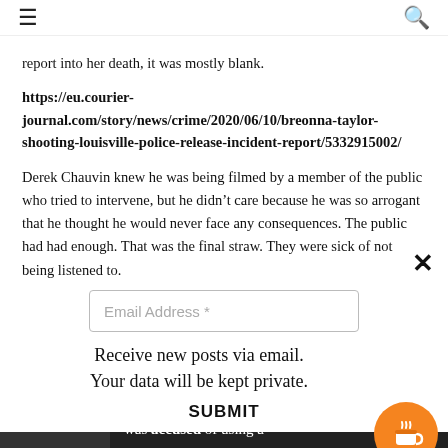≡  🔍
report into her death, it was mostly blank.
https://eu.courier-journal.com/story/news/crime/2020/06/10/breonna-taylor-shooting-louisville-police-release-incident-report/5332915002/
Derek Chauvin knew he was being filmed by a member of the public who tried to intervene, but he didn't care because he was so arrogant that he thought he would never face any consequences. The public had had enough. That was the final straw. They were sick of not being listened to.
Huge numbers of people in the UK have attended protests because they want to show solidarity and support to the Americans, but also
[Figure (screenshot): Email subscription modal popup with close button (×), an Email Address input field, text 'Receive new posts via email. Your data will be kept private.', a SUBMIT button, and an orange coffee cup button in the bottom right corner.]
[Figure (photo): Bottom strip showing a dark background with partial text reading 'was accused of using a']